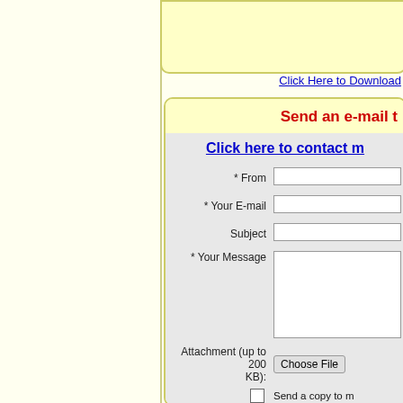Click Here to Download
Send an e-mail t
Click here to contact m
* From
* Your E-mail
Subject
* Your Message
Attachment (up to 200 KB):
Send a copy to m
* I agree with the TranslationDirec